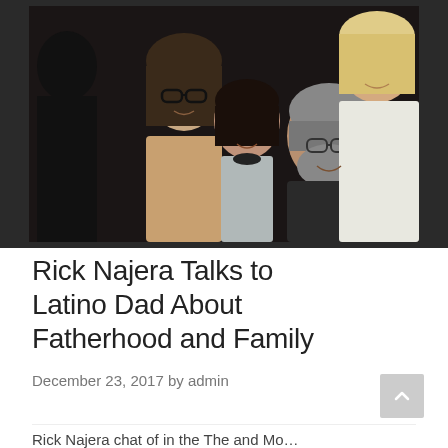[Figure (photo): Family group photo with several people including a teenage girl with glasses, a younger girl, an older bearded man with glasses, and a blonde woman, in a dimly lit setting]
Rick Najera Talks to Latino Dad About Fatherhood and Family
December 23, 2017 by admin
Rick Najera chat of in the The and Mo...